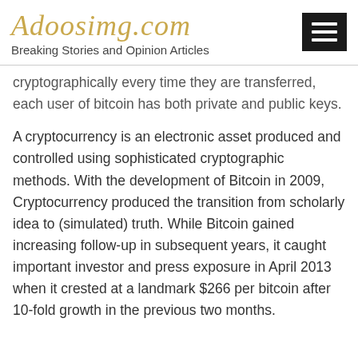Adoosimg.com
Breaking Stories and Opinion Articles
cryptographically every time they are transferred, each user of bitcoin has both private and public keys.
A cryptocurrency is an electronic asset produced and controlled using sophisticated cryptographic methods. With the development of Bitcoin in 2009, Cryptocurrency produced the transition from scholarly idea to (simulated) truth. While Bitcoin gained increasing follow-up in subsequent years, it caught important investor and press exposure in April 2013 when it crested at a landmark $266 per bitcoin after 10-fold growth in the previous two months.